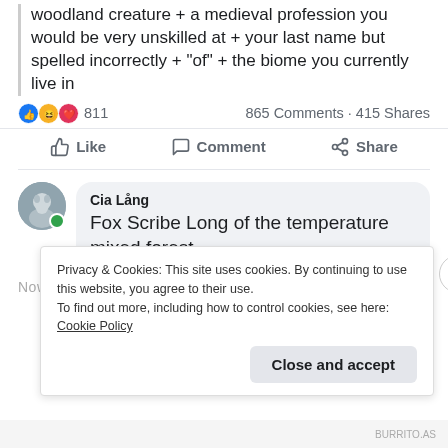quarantine name is your favorite woodland creature + a medieval profession you would be very unskilled at + your last name but spelled incorrectly + "of" + the biome you currently live in
811  865 Comments · 415 Shares
Like   Comment   Share
Cia Lång
Fox Scribe Long of the temperature mixed forest.
Now practicing writing in with a feather...
Privacy & Cookies: This site uses cookies. By continuing to use this website, you agree to their use.
To find out more, including how to control cookies, see here: Cookie Policy
Close and accept